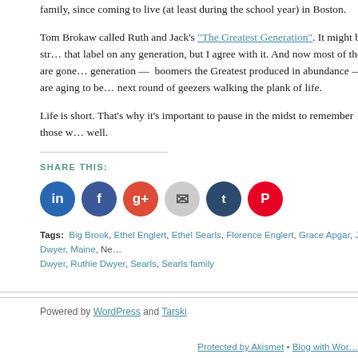family, since coming to live (at least during the school year) in Boston.
Tom Brokaw called Ruth and Jack's "The Greatest Generation". It might be a str... that label on any generation, but I agree with it. And now most of them are gone... generation — boomers the Greatest produced in abundance — are aging to be... next round of geezers walking the plank of life.
Life is short. That's why it's important to pause in the midst to remember those w... well.
SHARE THIS:
[Figure (other): Row of social share icon buttons: LinkedIn, Facebook, Google+, Email, Tumblr, Pinterest]
Tags: Big Brook, Ethel Englert, Ethel Searls, Florence Englert, Grace Apgar, Jack Dwyer, Maine, Ne... Dwyer, Ruthie Dwyer, Searls, Searls family
Powered by WordPress and Tarski
Protected by Akismet • Blog with Wor...